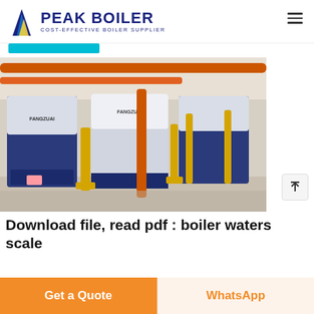PEAK BOILER — COST-EFFECTIVE BOILER SUPPLIER
[Figure (photo): Industrial boiler room with multiple large blue-and-white FANGZUAI condensing boilers connected by orange and yellow gas pipelines, installed on a concrete floor inside a building.]
Download file, read pdf : boiler waters scale
Get a Quote | WhatsApp